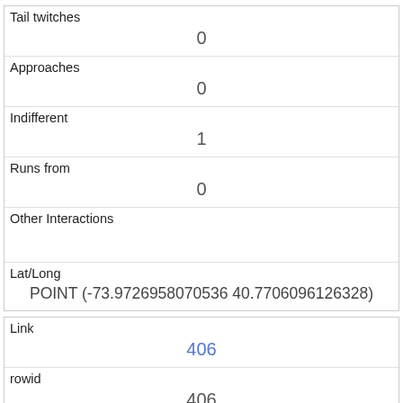| Tail twitches | 0 |
| Approaches | 0 |
| Indifferent | 1 |
| Runs from | 0 |
| Other Interactions |  |
| Lat/Long | POINT (-73.9726958070536 40.7706096126328) |
| Link | 406 |
| rowid | 406 |
| longitude | -73.97663549671971 |
| latitude | 40.77345751663190 |